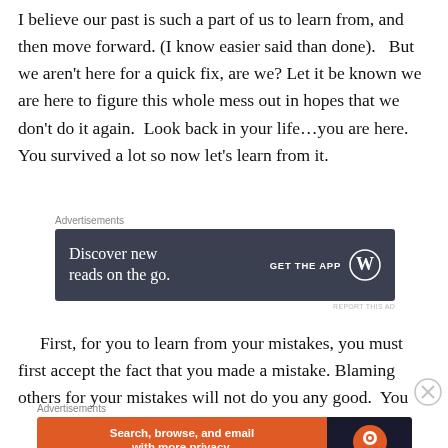I believe our past is such a part of us to learn from, and then move forward. (I know easier said than done).   But we aren't here for a quick fix, are we? Let it be known we are here to figure this whole mess out in hopes that we don't do it again.  Look back in your life…you are here. You survived a lot so now let's learn from it.
[Figure (screenshot): WordPress advertisement banner: dark slate background with text 'Discover new reads on the go.' and 'GET THE APP' with WordPress logo circle]
First, for you to learn from your mistakes, you must first accept the fact that you made a mistake. Blaming others for your mistakes will not do you any good.  You
[Figure (screenshot): DuckDuckGo advertisement banner: orange left panel with 'Search, browse, and email with more privacy. All in One Free App' and dark right panel with DuckDuckGo logo]